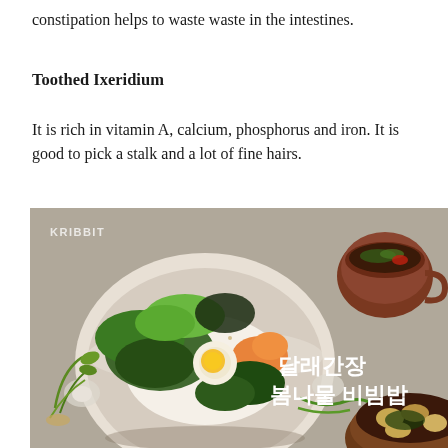constipation helps to waste waste in the intestines.
Toothed Ixeridium
It is rich in vitamin A, calcium, phosphorus and iron. It is good to pick a stalk and a lot of fine hairs.
[Figure (photo): A Korean bibimbap dish (spring vegetable mixed rice with wild chives soy sauce) in a ceramic bowl, garnished with egg, greens, carrots, and sesame seeds, with a side soup cup and a wooden bowl of clams. Korean text reads '달래간장 봄나물 비빔밥' (Wild chive soy sauce spring vegetable bibimbap). Branded with KRIBBIT watermark.]